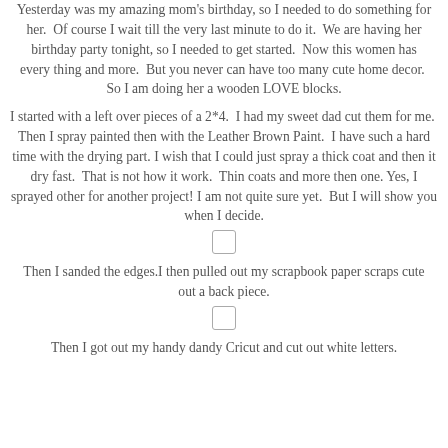Yesterday was my amazing mom's birthday, so I needed to do something for her.  Of course I wait till the very last minute to do it.  We are having her birthday party tonight, so I needed to get started.  Now this women has every thing and more.  But you never can have too many cute home decor.  So I am doing her a wooden LOVE blocks.
I started with a left over pieces of a 2*4.  I had my sweet dad cut them for me.  Then I spray painted then with the Leather Brown Paint.  I have such a hard time with the drying part. I wish that I could just spray a thick coat and then it dry fast.  That is not how it work.  Thin coats and more then one. Yes, I sprayed other for another project! I am not quite sure yet.  But I will show you when I decide.
[Figure (other): Small placeholder image box]
Then I sanded the edges.I then pulled out my scrapbook paper scraps cute out a back piece.
[Figure (other): Small placeholder image box]
Then I got out my handy dandy Cricut and cut out white letters.